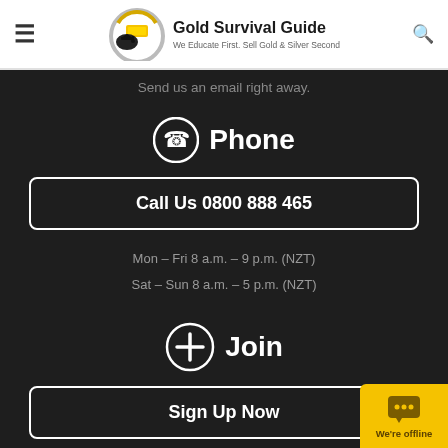Gold Survival Guide — We Educate First. Sell Gold & Silver Second
Send us an email right away.
Phone
Call Us 0800 888 465
Mon – Fri 8 a.m. – 9 p.m. (NZT)
Sat – Sun 8 a.m. – 5 p.m. (NZT)
Join
Sign Up Now
[Figure (other): Chat widget showing 'We're offline' message with speech bubble icon on yellow background]